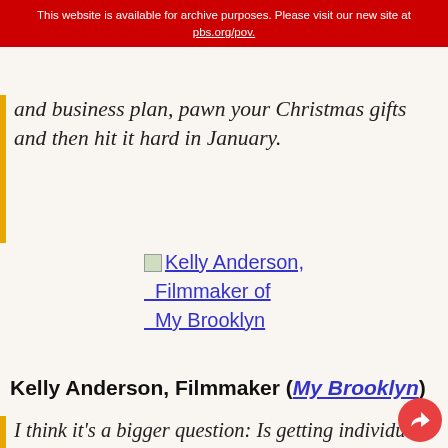This website is available for archive purposes. Please visit our new site at pbs.org/pov.
and business plan, pawn your Christmas gifts and then hit it hard in January.
[Figure (illustration): Linked image placeholder for Kelly Anderson, Filmmaker of My Brooklyn]
Kelly Anderson, Filmmaker (My Brooklyn)
I think it's a bigger question: Is getting individual contributions really a solution to the funding problem? Now that I did one